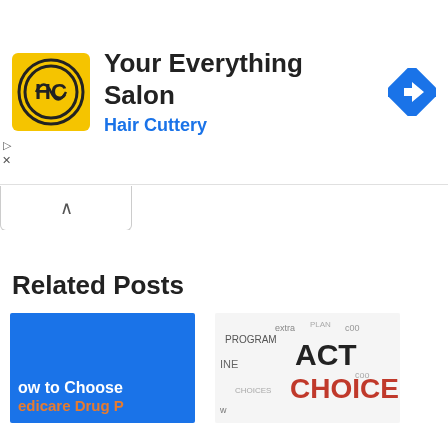[Figure (screenshot): Advertisement banner for Hair Cuttery 'Your Everything Salon' with yellow HC logo, navigation icon, play and close controls]
[Figure (screenshot): Collapsed tab/accordion element with upward caret]
Related Posts
[Figure (screenshot): Thumbnail image: 'How to Choose Medicare Drug P...' on blue background with orange text]
[Figure (screenshot): Thumbnail image: word cloud with words CHOICES, ACT, PLAN, etc.]